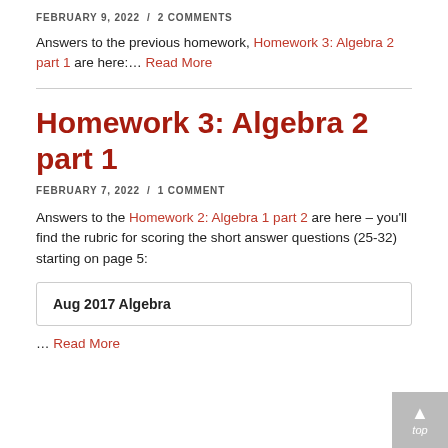FEBRUARY 9, 2022 / 2 COMMENTS
Answers to the previous homework, Homework 3: Algebra 2 part 1 are here:... Read More
Homework 3: Algebra 2 part 1
FEBRUARY 7, 2022 / 1 COMMENT
Answers to the Homework 2: Algebra 1 part 2 are here – you'll find the rubric for scoring the short answer questions (25-32) starting on page 5:
Aug 2017 Algebra
... Read More